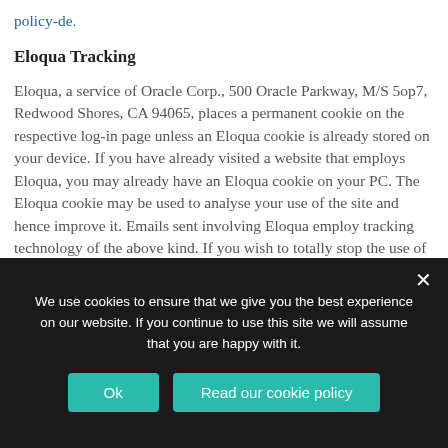policy-de.
Eloqua Tracking
Eloqua, a service of Oracle Corp., 500 Oracle Parkway, M/S 5op7, Redwood Shores, CA 94065, places a permanent cookie on the respective log-in page unless an Eloqua cookie is already stored on your device. If you have already visited a website that employs Eloqua, you may already have an Eloqua cookie on your PC. The Eloqua cookie may be used to analyse your use of the site and hence improve it. Emails sent involving Eloqua employ tracking technology of the above kind. If you wish to totally stop the use of Eloqua tracking technology for your device, you may do so on the
We use cookies to ensure that we give you the best experience on our website. If you continue to use this site we will assume that you are happy with it.
Ok
Read our cookie policy